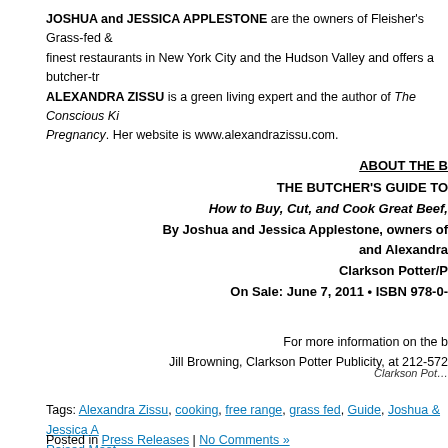JOSHUA and JESSICA APPLESTONE are the owners of Fleisher's Grass-fed & finest restaurants in New York City and the Hudson Valley and offers a butcher-tr ALEXANDRA ZISSU is a green living expert and the author of The Conscious Ki Pregnancy. Her website is www.alexandrazissu.com.
ABOUT THE B
THE BUTCHER'S GUIDE TO 
How to Buy, Cut, and Cook Great Beef,
By Joshua and Jessica Applestone, owners of
and Alexandra
Clarkson Potter/P
On Sale: June 7, 2011 • ISBN 978-0-
For more information on the b
Jill Browning, Clarkson Potter Publicity, at 212-572
[Figure (other): Clarkson Potter logo image]
Tags: Alexandra Zissu, cooking, free range, grass fed, Guide, Joshua & Jessica A Raised Meat
Posted in Press Releases | No Comments »
BR